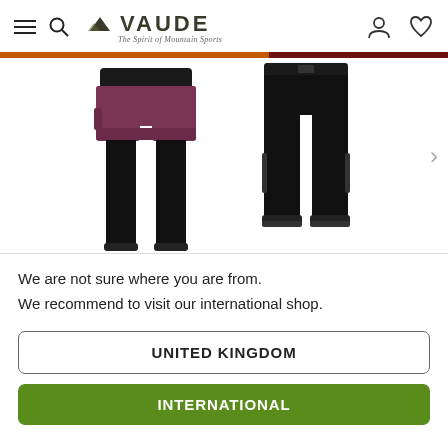VAUDE - The Spirit of Mountain Sports
[Figure (photo): Two product images side by side: left shows purple/mauve women's cycling shorts over black inner tights; right shows black women's athletic pants/trousers. White background.]
We are not sure where you are from.
We recommend to visit our international shop.
UNITED KINGDOM
INTERNATIONAL